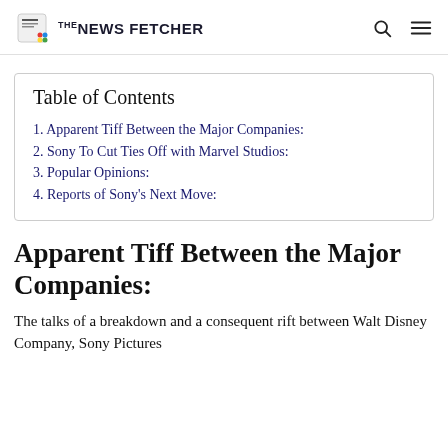THE NEWS FETCHER
| Table of Contents |
| --- |
| 1. Apparent Tiff Between the Major Companies: |
| 2. Sony To Cut Ties Off with Marvel Studios: |
| 3. Popular Opinions: |
| 4. Reports of Sony's Next Move: |
Apparent Tiff Between the Major Companies:
The talks of a breakdown and a consequent rift between Walt Disney Company, Sony Pictures